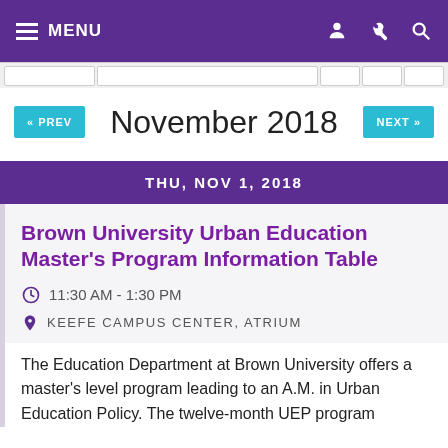≡ MENU
November 2018
THU, NOV 1, 2018
Brown University Urban Education Master's Program Information Table
11:30 AM - 1:30 PM
KEEFE CAMPUS CENTER, ATRIUM
The Education Department at Brown University offers a master's level program leading to an A.M. in Urban Education Policy. The twelve-month UEP program